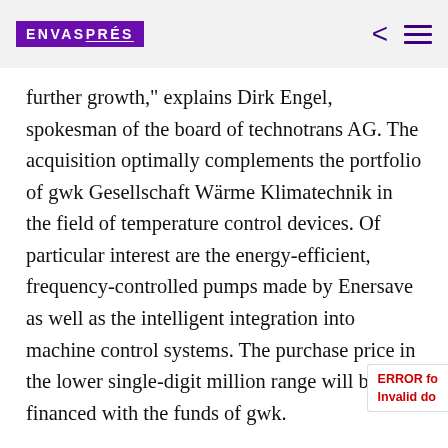ENVAS PRÉS
further growth," explains Dirk Engel, spokesman of the board of technotrans AG. The acquisition optimally complements the portfolio of gwk Gesellschaft Wärme Klimatechnik in the field of temperature control devices. Of particular interest are the energy-efficient, frequency-controlled pumps made by Enersave as well as the intelligent integration into machine control systems. The purchase price in the lower single-digit million range will be financed with the funds of gwk.
"Our goal is to successively expand our business in the market segment for compact temperature